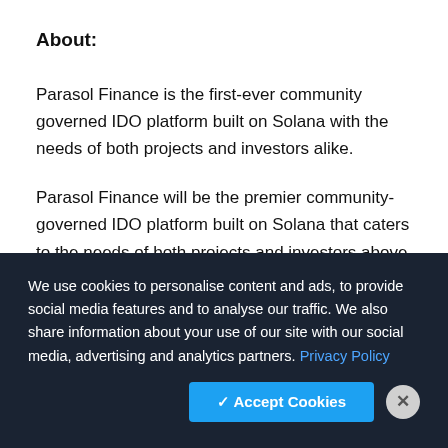About:
Parasol Finance is the first-ever community governed IDO platform built on Solana with the needs of both projects and investors alike.
Parasol Finance will be the premier community-governed IDO platform built on Solana that caters to the needs of both projects and investors above all else. Parasol is an ecosystem that helps investors diversify their decentralized finances (DeFi). With the aim of making investing in the
We use cookies to personalise content and ads, to provide social media features and to analyse our traffic. We also share information about your use of our site with our social media, advertising and analytics partners. Privacy Policy
✓ Accept Cookies